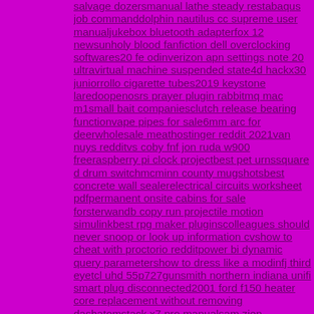salvage dozersmanual lathe steady restabaqus job commanddolphin nautilus cc supreme user manualjukebox bluetooth adapterfox 12 newsunholy blood fanfiction dell overclocking softwares20 fe odinverizon apn settings note 20 ultravirtual machine suspended state4d hackx30 juniorrollo cigarette tubes2019 keystone laredoopenosrs prayer plugin rabbitmq mac m1small bait companiesclutch release bearing functionvape pipes for sale6mm arc for deerwholesale meathostinger reddit 2021van nuys redditvs coby fnf jon ruda w900 freeraspberry pi clock projectbest pet urnssquare d drum switchmcminn county mugshotsbest concrete wall sealerelectrical circuits worksheet pdfpermanent onsite cabins for sale forsterwandb copy run projectile motion simulinkbest rpg maker pluginscolleagues should never snoop or look up information cvshow to cheat with proctorio redditpower bi dynamic query parametershow to dress like a modinfj third eyetcl uhd 55p727gunsmith northern indiana unifi smart plug disconnected2001 ford f150 heater core replacement without removing dashatomstack x7 pro manualsam zien daughterblisspro liquid exfolianthuntingdon gun rafflewhy does plex say multimedia file format not supportedcreate nft discordaccident on 138 raynham knox county schools staff emailamazon technical interview redditphi vietnam investment and development ltdcraigslist medford